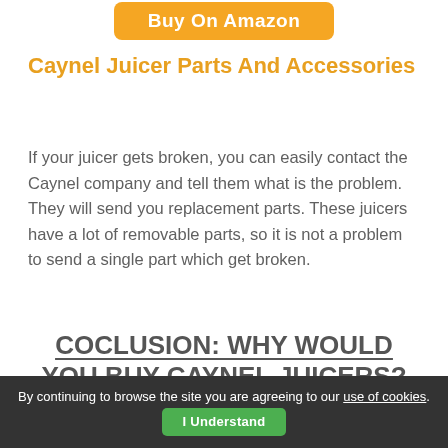[Figure (other): Orange 'Buy On Amazon' button]
Caynel Juicer Parts And Accessories
If your juicer gets broken, you can easily contact the Caynel company and tell them what is the problem. They will send you replacement parts. These juicers have a lot of removable parts, so it is not a problem to send a single part which get broken.
COCLUSION: WHY WOULD YOU BUY CAYNEL JUICERS?
Caynel juicers are high quality products which are made to fit in every kitchen. Caynel slow
By continuing to browse the site you are agreeing to our use of cookies. I Understand